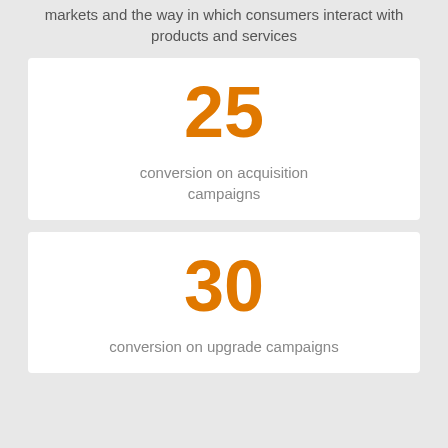markets and the way in which consumers interact with products and services
25
conversion on acquisition campaigns
30
conversion on upgrade campaigns